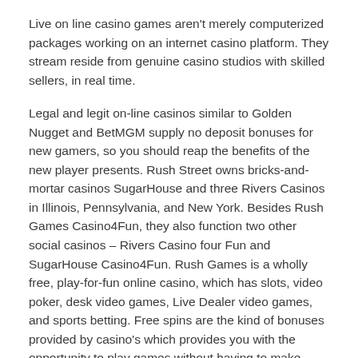Live on line casino games aren't merely computerized packages working on an internet casino platform. They stream reside from genuine casino studios with skilled sellers, in real time.
Legal and legit on-line casinos similar to Golden Nugget and BetMGM supply no deposit bonuses for new gamers, so you should reap the benefits of the new player presents. Rush Street owns bricks-and-mortar casinos SugarHouse and three Rivers Casinos in Illinois, Pennsylvania, and New York. Besides Rush Games Casino4Fun, they also function two other social casinos – Rivers Casino four Fun and SugarHouse Casino4Fun. Rush Games is a wholly free, play-for-fun online casino, which has slots, video poker, desk video games, Live Dealer video games, and sports betting. Free spins are the kind of bonuses provided by casino's which provides you with the opportunity to play games without having to make deposits.